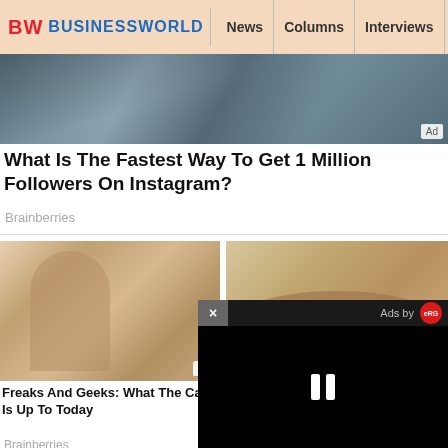BW BUSINESSWORLD | News | Columns | Interviews | BW
[Figure (photo): Top banner photo of people, partially visible, with Ad badge]
What Is The Fastest Way To Get 1 Million Followers On Instagram?
Brainberries
[Figure (photo): Left photo: woman posing, Ad badge visible]
[Figure (photo): Right photo: India Parliament building (Sansad Bhavan)]
Freaks And Geeks: What The Cast Is Up To Today
A Vision Of India's Future
Brainberries
[Figure (photo): Bottom left photo: underwater scene, partially visible]
[Figure (photo): Bottom right photo: group of people, partially visible]
[Figure (screenshot): Popup overlay: dark ad player with close X button, Ads by eRG logo, pause icon on black background]